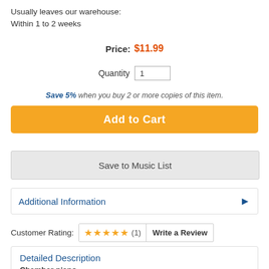Usually leaves our warehouse:
Within 1 to 2 weeks
Price: $11.99
Quantity  1
Save 5% when you buy 2 or more copies of this item.
Add to Cart
Save to Music List
Additional Information
Customer Rating: ★★★★★ (1)  Write a Review
Detailed Description
Chamber piano
SWS, Music Pathways, a Course for Piano Study, Instructional, Instructional